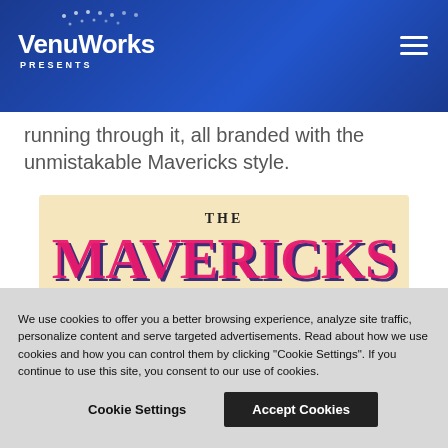VenuWorks PRESENTS
running through it, all branded with the unmistakable Mavericks style.
[Figure (illustration): The Mavericks band logo with a Day of the Dead style woman wearing a large sombrero hat, colorful flowers, on a warm beige/cream background. Text reads 'THE MAVERICKS' in large decorated letters.]
We use cookies to offer you a better browsing experience, analyze site traffic, personalize content and serve targeted advertisements. Read about how we use cookies and how you can control them by clicking "Cookie Settings". If you continue to use this site, you consent to our use of cookies.